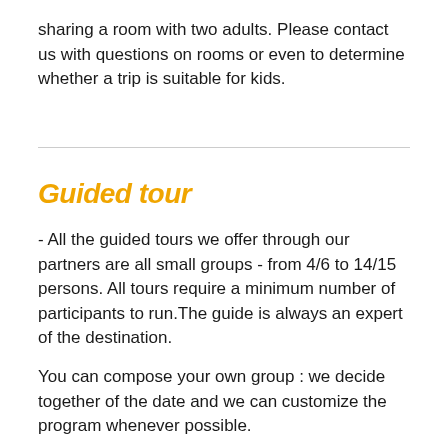sharing a room with two adults. Please contact us with questions on rooms or even to determine whether a trip is suitable for kids.
Guided tour
- All the guided tours we offer through our partners are all small groups - from 4/6 to 14/15 persons. All tours require a minimum number of participants to run.The guide is always an expert of the destination.
You can compose your own group : we decide together of the date and we can customize the program whenever possible.